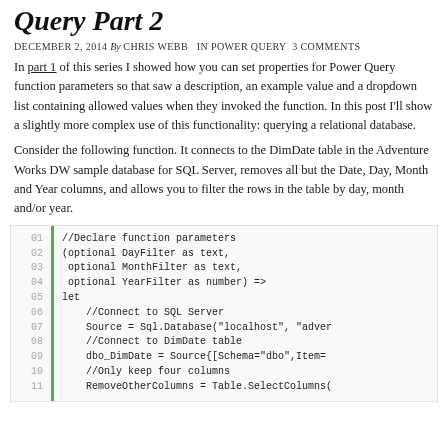Query Part 2
December 2, 2014 By Chris Webb in Power Query 3 Comments
In part 1 of this series I showed how you can set properties for Power Query function parameters so that saw a description, an example value and a dropdown list containing allowed values when they invoked the function. In this post I'll show a slightly more complex use of this functionality: querying a relational database.
Consider the following function. It connects to the DimDate table in the Adventure Works DW sample database for SQL Server, removes all but the Date, Day, Month and Year columns, and allows you to filter the rows in the table by day, month and/or year.
[Figure (screenshot): Code block showing Power Query M language function definition with line numbers 01-11 and a green vertical bar. Lines include: //Declare function parameters, (optional DayFilter as text,, optional MonthFilter as text,, optional YearFilter as number) =>, let, //Connect to SQL Server, Source = Sql.Database("localhost", "adver..., //Connect to DimDate table, dbo_DimDate = Source{[Schema="dbo",Item=..., //Only keep four columns, RemoveOtherColumns = Table.SelectColumns(]